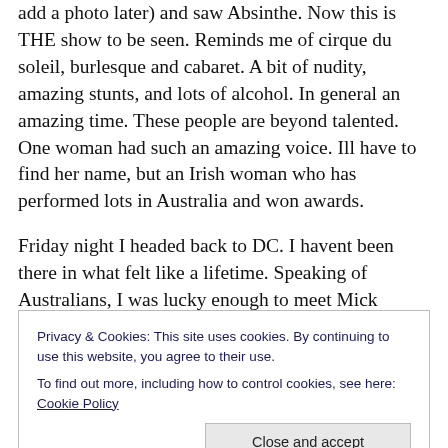add a photo later) and saw Absinthe. Now this is THE show to be seen. Reminds me of cirque du soleil, burlesque and cabaret. A bit of nudity, amazing stunts, and lots of alcohol. In general an amazing time. These people are beyond talented. One woman had such an amazing voice. Ill have to find her name, but an Irish woman who has performed lots in Australia and won awards.
Friday night I headed back to DC. I havent been there in what felt like a lifetime. Speaking of Australians, I was lucky enough to meet Mick (theres a link to his blog somewhere) who is living in DC for a bit. Ive known him for
Privacy & Cookies: This site uses cookies. By continuing to use this website, you agree to their use.
To find out more, including how to control cookies, see here: Cookie Policy
Close and accept
other great friend, who probably wants to be nameless.